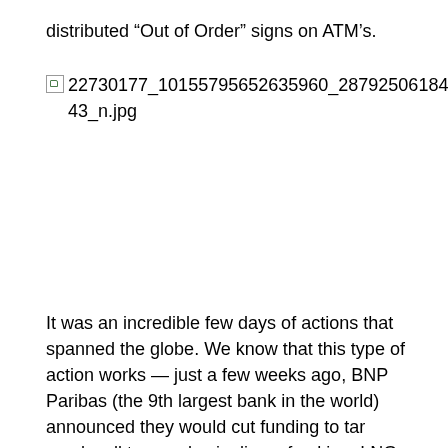distributed “Out of Order” signs on ATM’s.
[Figure (photo): Broken image placeholder with filename: 22730177_10155795652635960_28792506184884456 43_n.jpg]
It was an incredible few days of actions that spanned the globe. We know that this type of action works — just a few weeks ago, BNP Paribas (the 9th largest bank in the world) announced they would cut funding to tar sands, all tar sands pipelines, fracking, LNG, and Arctic oil projects.